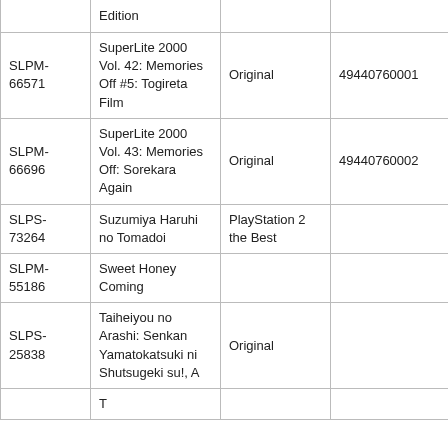| ID | Title | Edition | Barcode |
| --- | --- | --- | --- |
|  | Edition |  |  |
| SLPM-66571 | SuperLite 2000 Vol. 42: Memories Off #5: Togireta Film | Original | 4944076000418 |
| SLPM-66696 | SuperLite 2000 Vol. 43: Memories Off: Sorekara Again | Original | 4944076000425 |
| SLPS-73264 | Suzumiya Haruhi no Tomadoi | PlayStation 2 the Best |  |
| SLPM-55186 | Sweet Honey Coming |  |  |
| SLPS-25838 | Taiheiyou no Arashi: Senkan Yamatokatsuki ni Shutsugeki su!, A | Original |  |
|  | Taiko... |  |  |